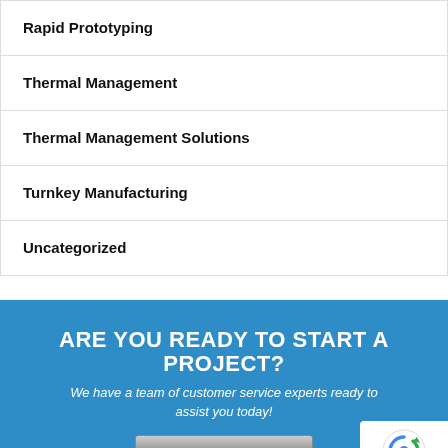Rapid Prototyping
Thermal Management
Thermal Management Solutions
Turnkey Manufacturing
Uncategorized
ARE YOU READY TO START A PROJECT?
We have a team of customer service experts ready to assist you today!
[Figure (other): GET A QUOTE button — metallic silver CTA button with uppercase text]